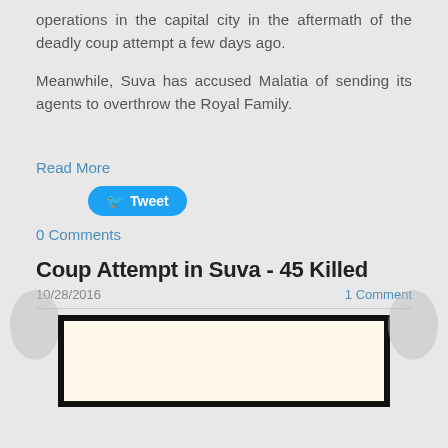operations in the capital city in the aftermath of the deadly coup attempt a few days ago.
Meanwhile, Suva has accused Malatia of sending its agents to overthrow the Royal Family.
Read More
Tweet
0 Comments
Coup Attempt in Suva - 45 Killed
10/28/2016
1 Comment
[Figure (other): Image frame with light cream/beige background bordered by thick black border, with navigation arrows on left and right sides]